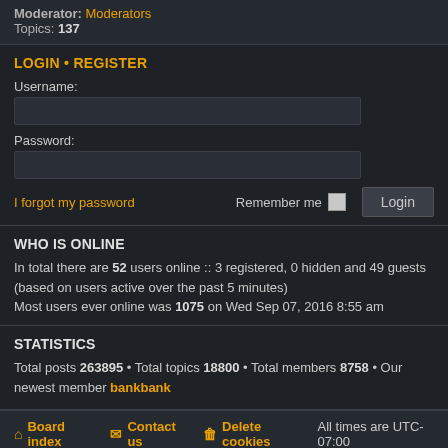Moderator: Moderators
Topics: 137
LOGIN • REGISTER
Username:
Password:
I forgot my password   Remember me  Login
WHO IS ONLINE
In total there are 52 users online :: 3 registered, 0 hidden and 49 guests (based on users active over the past 5 minutes)
Most users ever online was 1075 on Wed Sep 07, 2016 8:55 am
STATISTICS
Total posts 263895 • Total topics 18800 • Total members 8758 • Our newest member bankbank
Board index   Contact us   Delete cookies   All times are UTC-07:00
Powered by phpBB® Forum Software © phpBB Limited
Prosilver Dark Edition by Premium phpBB Styles
Privacy | Terms